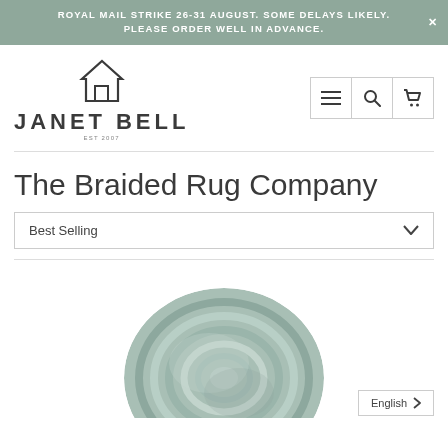ROYAL MAIL STRIKE 26-31 AUGUST. SOME DELAYS LIKELY. × PLEASE ORDER WELL IN ADVANCE.
[Figure (logo): Janet Bell logo with house icon and text JANET BELL EST 2007]
[Figure (infographic): Navigation icons: hamburger menu, search, cart]
The Braided Rug Company
Best Selling
[Figure (photo): Oval braided rug in muted teal/grey tones, partially visible]
English >